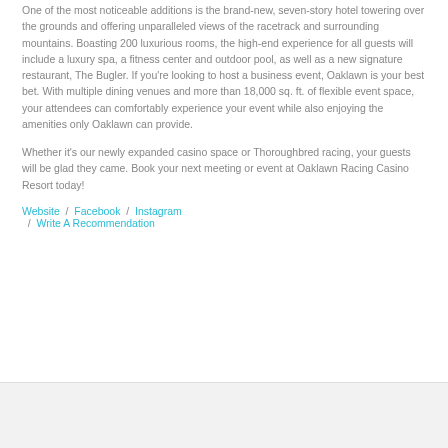One of the most noticeable additions is the brand-new, seven-story hotel towering over the grounds and offering unparalleled views of the racetrack and surrounding mountains. Boasting 200 luxurious rooms, the high-end experience for all guests will include a luxury spa, a fitness center and outdoor pool, as well as a new signature restaurant, The Bugler. If you're looking to host a business event, Oaklawn is your best bet. With multiple dining venues and more than 18,000 sq. ft. of flexible event space, your attendees can comfortably experience your event while also enjoying the amenities only Oaklawn can provide.
Whether it's our newly expanded casino space or Thoroughbred racing, your guests will be glad they came. Book your next meeting or event at Oaklawn Racing Casino Resort today!
Website / Facebook / Instagram / Write A Recommendation